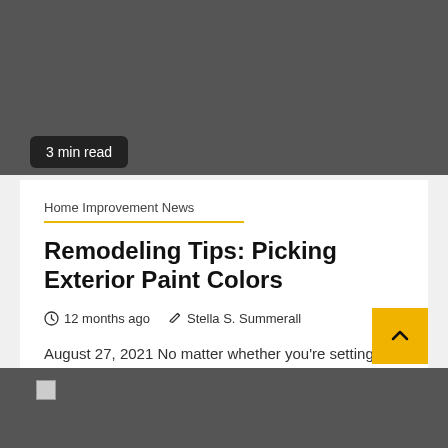[Figure (photo): Dark gray image area at top of page (hero image placeholder)]
3 min read
Home Improvement News
Remodeling Tips: Picking Exterior Paint Colors
12 months ago   Stella S. Summerall
August 27, 2021 No matter whether you're setting up a slew of reworking initiatives or you just want to refresh...
[Figure (photo): Dark gray image area at the bottom of page (second article hero image, partially visible, with broken image icon)]